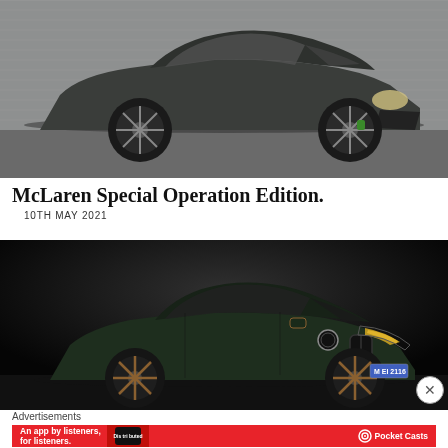[Figure (photo): Dark green/grey McLaren SLR sports car photographed outdoors in front of a corrugated metal wall, three-quarter front view]
McLaren Special Operation Edition.
10TH MAY 2021
[Figure (photo): Dark green BMW M5 sedan photographed in low-key studio lighting, three-quarter front view showing yellow-accented headlights and copper wheels, license plate MEI 2116]
Advertisements
[Figure (other): Red advertisement banner for Pocket Casts app reading: An app by listeners, for listeners. with Pocket Casts logo and a smartphone showing the Distributed book/podcast cover]